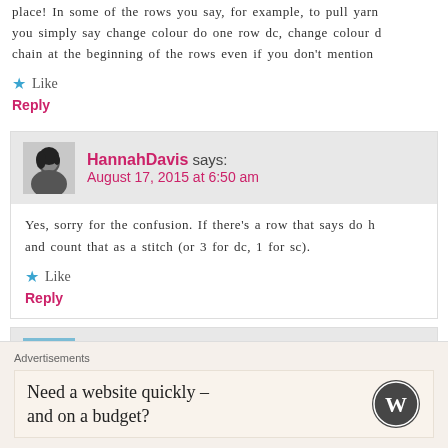place! In some of the rows you say, for example, to pull yarn you simply say change colour do one row dc, change colour d chain at the beginning of the rows even if you don't mention
★ Like
Reply
HannahDavis says:
August 17, 2015 at 6:50 am
Yes, sorry for the confusion. If there's a row that says do h and count that as a stitch (or 3 for dc, 1 for sc).
★ Like
Reply
Kentucky Angel says:
Advertisements
Need a website quickly – and on a budget?